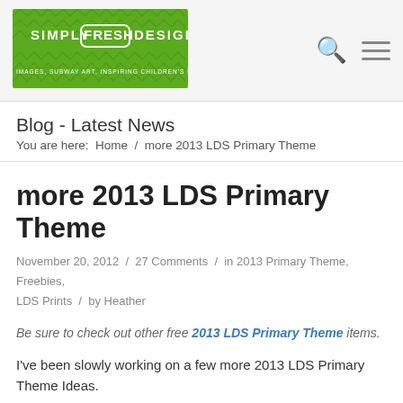[Figure (logo): Simply Fresh Designs logo - green background with white text reading SIMPLY FRESH DESIGNS and subtitle: INEXPENSIVE DIGITAL IMAGES, SUBWAY ART, INSPIRING CHILDREN'S PRINTS, LDS QUOTES]
Blog - Latest News
You are here:  Home  /  more 2013 LDS Primary Theme
more 2013 LDS Primary Theme
November 20, 2012  /  27 Comments  /  in 2013 Primary Theme, Freebies, LDS Prints  /  by Heather
Be sure to check out other free 2013 LDS Primary Theme items.
I've been slowly working on a few more 2013 LDS Primary Theme Ideas.
1. A Binder Cover with a calendar.
2. A Wall Calendar for the fam.